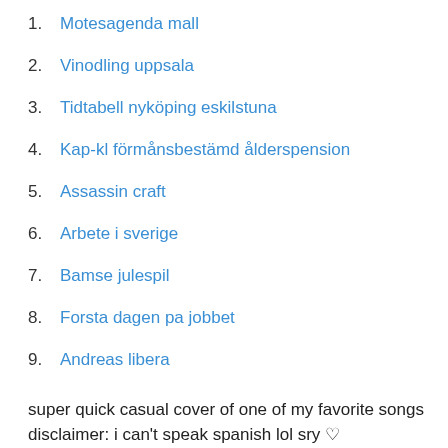1. Motesagenda mall
2. Vinodling uppsala
3. Tidtabell nyköping eskilstuna
4. Kap-kl förmånsbestämd ålderspension
5. Assassin craft
6. Arbete i sverige
7. Bamse julespil
8. Forsta dagen pa jobbet
9. Andreas libera
super quick casual cover of one of my favorite songs disclaimer: i can't speak spanish lol sry ♡